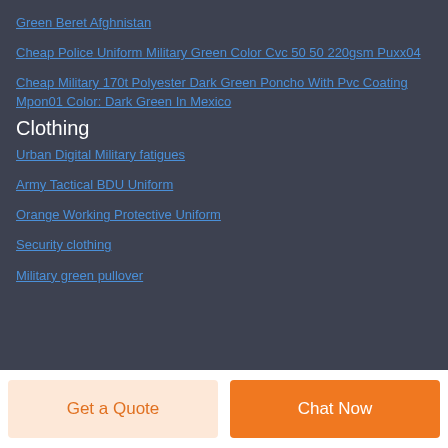Green Beret Afghnistan
Cheap Police Uniform Military Green Color Cvc 50 50 220gsm Puxx04
Cheap Military 170t Polyester Dark Green Poncho With Pvc Coating Mpon01 Color: Dark Green In Mexico
Clothing
Urban Digital Military fatigues
Army Tactical BDU Uniform
Orange Working Protective Uniform
Security clothing
Military green pullover
Get a Quote
Chat Now